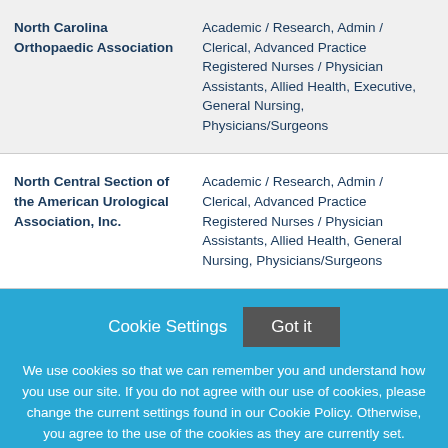| Organization | Categories |
| --- | --- |
| North Carolina Orthopaedic Association | Academic / Research, Admin / Clerical, Advanced Practice Registered Nurses / Physician Assistants, Allied Health, Executive, General Nursing, Physicians/Surgeons |
| North Central Section of the American Urological Association, Inc. | Academic / Research, Admin / Clerical, Advanced Practice Registered Nurses / Physician Assistants, Allied Health, General Nursing, Physicians/Surgeons |
Cookie Settings  Got it
We use cookies so that we can remember you and understand how you use our site. If you do not agree with our use of cookies, please change the current settings found in our Cookie Policy. Otherwise, you agree to the use of the cookies as they are currently set.